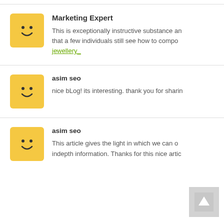[Figure (illustration): Yellow square avatar with cartoon face (dots for eyes, curved smile)]
Marketing Expert
This is exceptionally instructive substance and that a few individuals still see how to compo jewellery
[Figure (illustration): Yellow square avatar with cartoon face]
asim seo
nice bLog! its interesting. thank you for sharin
[Figure (illustration): Yellow square avatar with cartoon face]
asim seo
This article gives the light in which we can o indepth information. Thanks for this nice artic